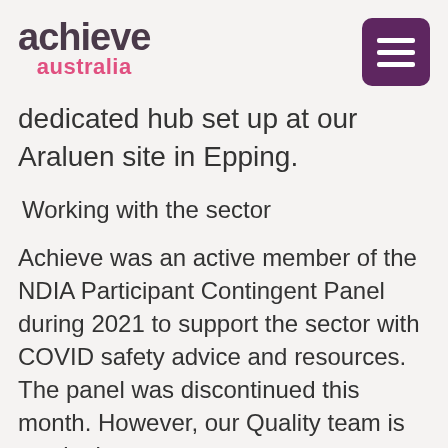achieve australia
dedicated hub set up at our Araluen site in Epping.
Working with the sector
Achieve was an active member of the NDIA Participant Contingent Panel during 2021 to support the sector with COVID safety advice and resources. The panel was discontinued this month. However, our Quality team is continuing